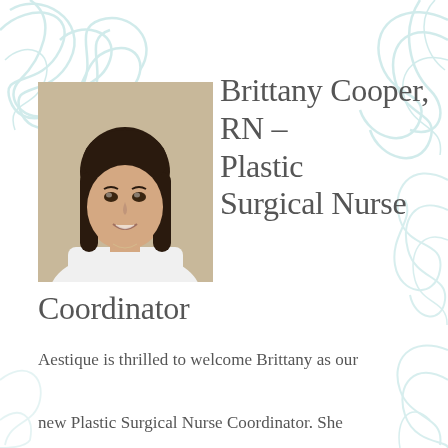[Figure (photo): Headshot of Brittany Cooper, a woman with long dark hair wearing a white top, smiling against a neutral background]
Brittany Cooper, RN – Plastic Surgical Nurse Coordinator
Aestique is thrilled to welcome Brittany as our new Plastic Surgical Nurse Coordinator. She received her education from UPMC Mercy Hospital School of Nursing and Capella University